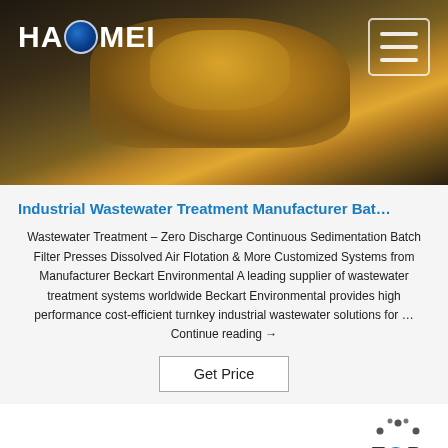[Figure (photo): Header photograph of industrial machinery (yellow/orange heavy equipment) with dark background, featuring Haomei logo and hamburger menu icon]
Industrial Wastewater Treatment Manufacturer Bat…
Wastewater Treatment – Zero Discharge Continuous Sedimentation Batch Filter Presses Dissolved Air Flotation & More Customized Systems from Manufacturer Beckart Environmental A leading supplier of wastewater treatment systems worldwide Beckart Environmental provides high performance cost-efficient turnkey industrial wastewater solutions for … Continue reading →
Get Price
[Figure (photo): Bottom strip photograph of industrial equipment including poles/tower structure on the left and yellow machinery on the right]